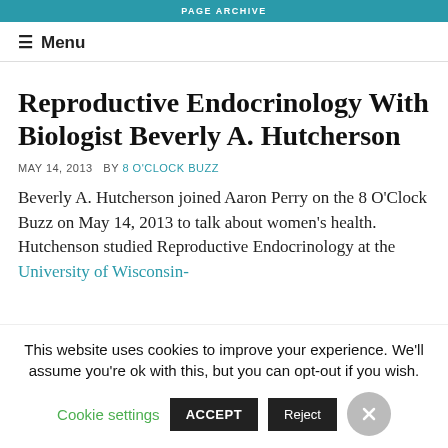PAGE ARCHIVE
≡ Menu
Reproductive Endocrinology With Biologist Beverly A. Hutcherson
MAY 14, 2013   BY 8 O'CLOCK BUZZ
Beverly A. Hutcherson joined Aaron Perry on the 8 O'Clock Buzz on May 14, 2013 to talk about women's health. Hutchenson studied Reproductive Endocrinology at the University of Wisconsin-
This website uses cookies to improve your experience. We'll assume you're ok with this, but you can opt-out if you wish. Cookie settings  ACCEPT  Reject